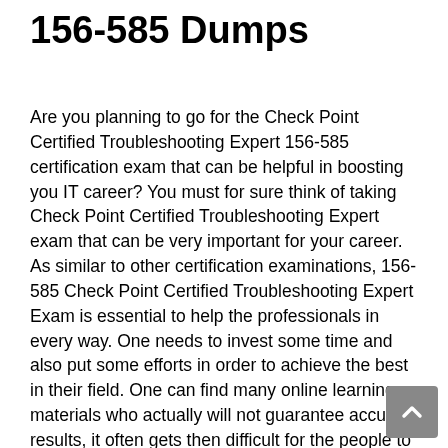156-585 Dumps
Are you planning to go for the Check Point Certified Troubleshooting Expert 156-585 certification exam that can be helpful in boosting you IT career? You must for sure think of taking Check Point Certified Troubleshooting Expert exam that can be very important for your career. As similar to other certification examinations, 156-585 Check Point Certified Troubleshooting Expert Exam is essential to help the professionals in every way. One needs to invest some time and also put some efforts in order to achieve the best in their field. One can find many online learning materials who actually will not guarantee accurate results, it often gets then difficult for the people to manage and study and on the other hand clear the 156-585 Check Point Certified